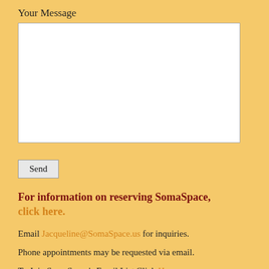Your Message
[Figure (other): A large empty white textarea input box for entering a message]
Send
For information on reserving SomaSpace, click here.
Email Jacqueline@SomaSpace.us for inquiries.
Phone appointments may be requested via email.
To Join SomaSpace's Email List Click Here